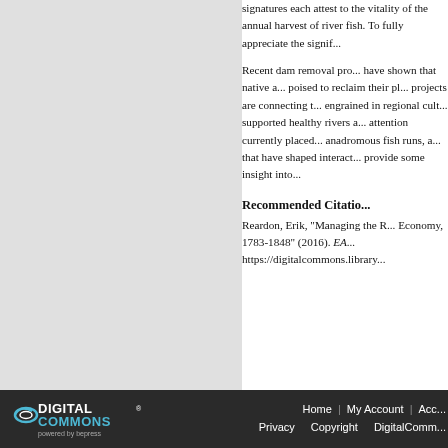signatures each attest to the vitality of the annual harvest of river fish. To fully appreciate the signif...
Recent dam removal projects have shown that native anadromous fish are poised to reclaim their place. These projects are connecting to values deeply engrained in regional cultures that supported healthy rivers and fisheries. The attention currently placed on recovering anadromous fish runs, and the histories that have shaped interactions with fish, provide some insight into...
Recommended Citation
Reardon, Erik, "Managing the R... Economy, 1783-1848" (2016). EA... https://digitalcommons.library...
Home | My Account | Acc... Privacy  Copyright  DigitalComm...